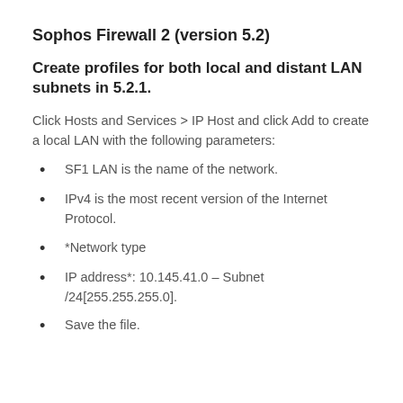Sophos Firewall 2 (version 5.2)
Create profiles for both local and distant LAN subnets in 5.2.1.
Click Hosts and Services > IP Host and click Add to create a local LAN with the following parameters:
SF1 LAN is the name of the network.
IPv4 is the most recent version of the Internet Protocol.
*Network type
IP address*: 10.145.41.0 – Subnet /24[255.255.255.0].
Save the file.